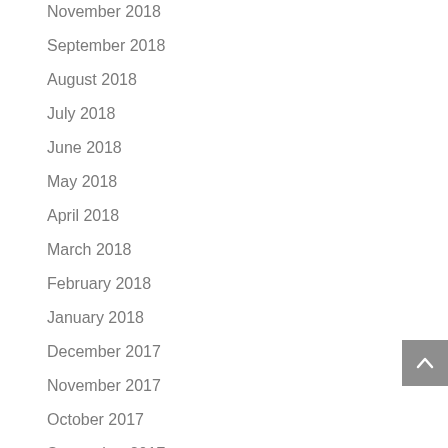November 2018
September 2018
August 2018
July 2018
June 2018
May 2018
April 2018
March 2018
February 2018
January 2018
December 2017
November 2017
October 2017
September 2017
August 2017
July 2017
June 2017